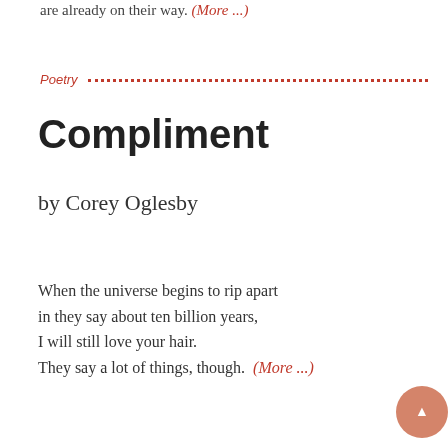are already on their way. (More ...)
Poetry
Compliment
by Corey Oglesby
When the universe begins to rip apart
in they say about ten billion years,
I will still love your hair.
They say a lot of things, though.  (More ...)